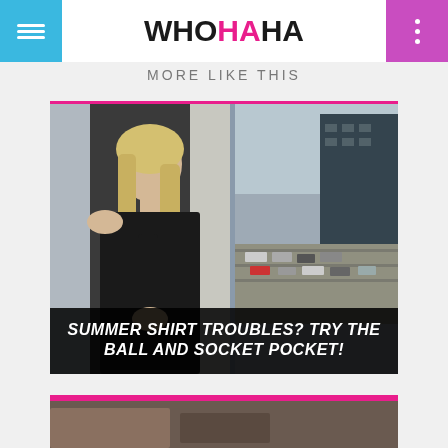WHOHAHA
MORE LIKE THIS
[Figure (photo): A blonde woman in a black long-sleeve top leaning against a concrete pillar, with a cityscape and traffic visible in the background]
SUMMER SHIRT TROUBLES? TRY THE BALL AND SOCKET POCKET!